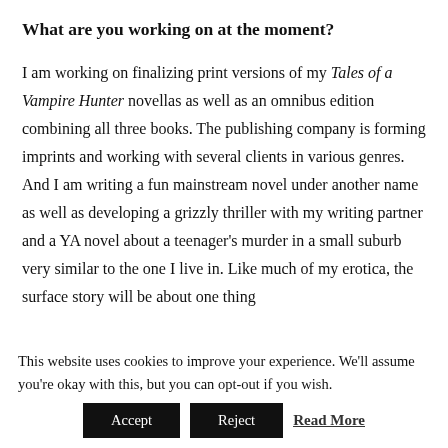What are you working on at the moment?
I am working on finalizing print versions of my Tales of a Vampire Hunter novellas as well as an omnibus edition combining all three books. The publishing company is forming imprints and working with several clients in various genres. And I am writing a fun mainstream novel under another name as well as developing a grizzly thriller with my writing partner and a YA novel about a teenager's murder in a small suburb very similar to the one I live in. Like much of my erotica, the surface story will be about one thing
This website uses cookies to improve your experience. We'll assume you're okay with this, but you can opt-out if you wish.
Accept  Reject  Read More